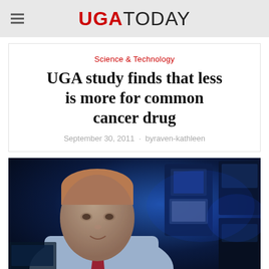UGA TODAY
Science & Technology
UGA study finds that less is more for common cancer drug
September 30, 2011 · by raven-kathleen
[Figure (photo): A man in a blue dress shirt and red tie sitting in a laboratory filled with scientific equipment, illuminated by blue lighting, with computer monitors and lab instruments visible in the background.]